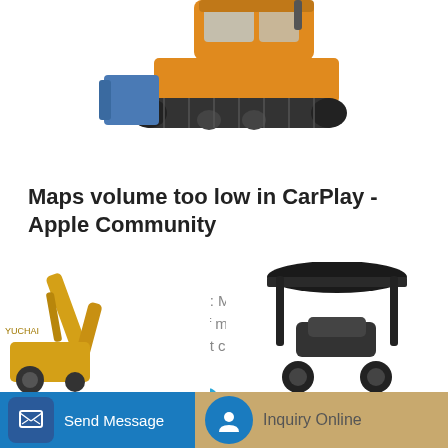[Figure (photo): Yellow tracked bulldozer/crawler machine, partially cropped at top of page]
Maps volume too low in CarPlay - Apple Community
Dec 20, 2017 · Question: Q: Maps volume too low in CarPlay. Hi, For example: If maps is up but and radio is on, when i change the volume it changes only the radio volum...
[Figure (screenshot): Blue 'Learn More' button]
[Figure (photo): Yellow backhoe loader arm, partially cropped, bottom left]
[Figure (photo): Black canopy / compact equipment, partially cropped, bottom right]
[Figure (infographic): Bottom bar with 'Send Message' button (blue) and 'Inquiry Online' button (tan/gold)]